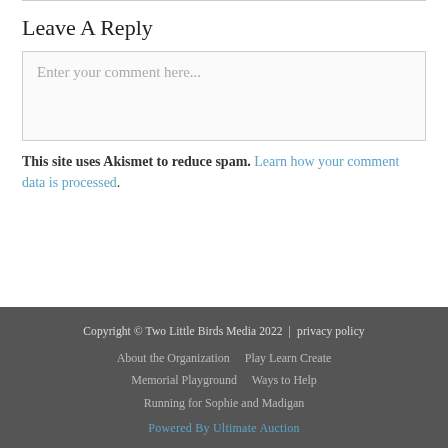Leave A Reply
Enter your comment here...
This site uses Akismet to reduce spam. Learn how your comment data is processed.
Copyright © Two Little Birds Media 2022 | privacy policy
About the Organization   Play Learn Create
Memorial Playground   Ways to Help
Running for Sophie and Madigan
Powered By Ultimate Auction